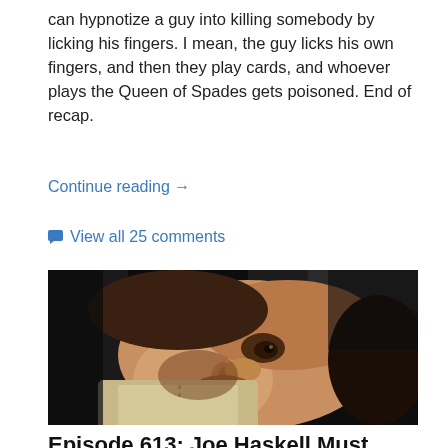can hypnotize a guy into killing somebody by licking his fingers. I mean, the guy licks his own fingers, and then they play cards, and whoever plays the Queen of Spades gets poisoned. End of recap.
Continue reading →
View all 25 comments
[Figure (photo): A dark, moody close-up photo of a man lying on his side, face partially visible, looking upward. The image is predominantly dark with warm skin tones.]
Episode 613: Joe Haskell Must